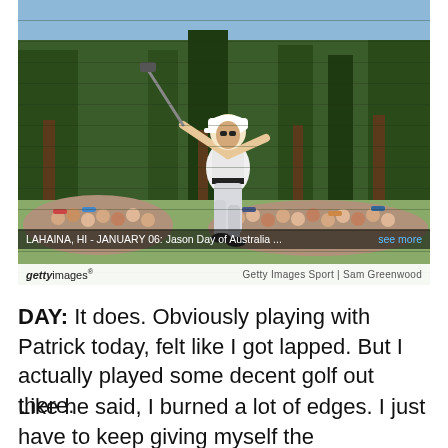[Figure (photo): Golfer Jason Day of Australia swinging a golf club on a sunny course, with trees and spectators in the background. Getty Images Sport photo by Sam Greenwood.]
LAHAINA, HI - JANUARY 06: Jason Day of Australia ... see more
gettyimages  Getty Images Sport | Sam Greenwood
DAY: It does. Obviously playing with Patrick today, felt like I got lapped. But I actually played some decent golf out there.
Like he said, I burned a lot of edges. I just have to keep giving myself the opportunities. Obviously it's there. Even though I have taken the